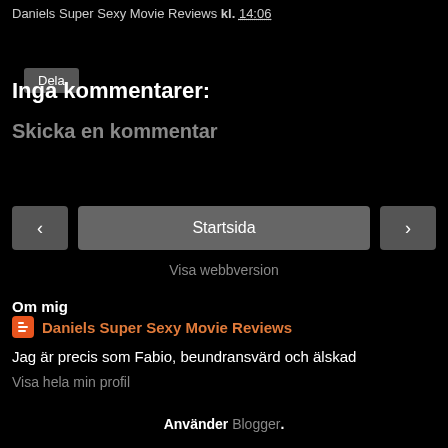Daniels Super Sexy Movie Reviews kl. 14:06
Dela
Inga kommentarer:
Skicka en kommentar
‹  Startsida  ›
Visa webbversion
Om mig
Daniels Super Sexy Movie Reviews
Jag är precis som Fabio, beundransvärd och älskad
Visa hela min profil
Använder Blogger.